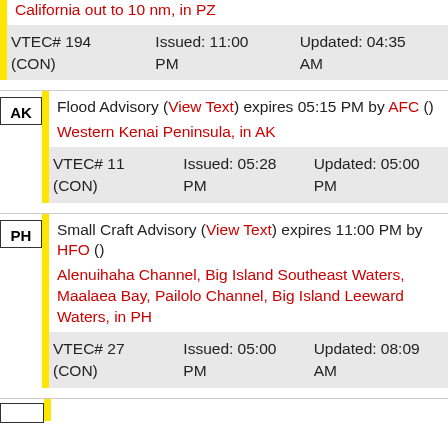California out to 10 nm, in PZ
| VTEC# | Issued | Updated |
| --- | --- | --- |
| VTEC# 194 (CON) | Issued: 11:00 PM | Updated: 04:35 AM |
AK — Flood Advisory (View Text) expires 05:15 PM by AFC () Western Kenai Peninsula, in AK
| VTEC# | Issued | Updated |
| --- | --- | --- |
| VTEC# 11 (CON) | Issued: 05:28 PM | Updated: 05:00 PM |
PH — Small Craft Advisory (View Text) expires 11:00 PM by HFO () Alenuihaha Channel, Big Island Southeast Waters, Maalaea Bay, Pailolo Channel, Big Island Leeward Waters, in PH
| VTEC# | Issued | Updated |
| --- | --- | --- |
| VTEC# 27 (CON) | Issued: 05:00 PM | Updated: 08:09 AM |